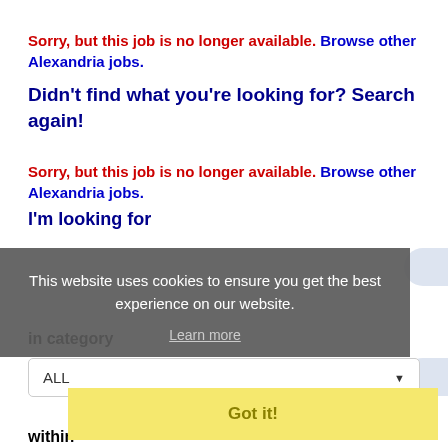Sorry, but this job is no longer available. Browse other Alexandria jobs.
Didn't find what you're looking for? Search again!
Sorry, but this job is no longer available. Browse other Alexandria jobs.
I'm looking for
[Figure (screenshot): Cookie consent overlay with text 'This website uses cookies to ensure you get the best experience on our website.' with 'Learn more' link and 'Got it!' button]
in category
ALL
within
100 Miles of Alexandria